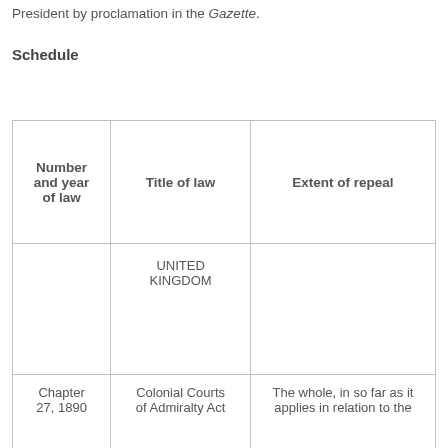President by proclamation in the Gazette.
Schedule
| Number and year of law | Title of law | Extent of repeal |
| --- | --- | --- |
|  | UNITED KINGDOM |  |
| Chapter 27, 1890 | Colonial Courts of Admiralty Act | The whole, in so far as it applies in relation to the |